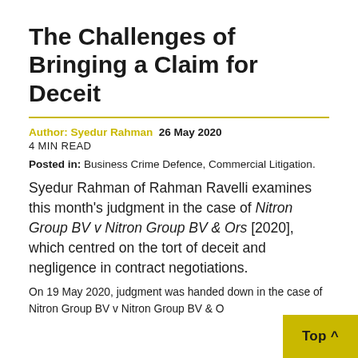The Challenges of Bringing a Claim for Deceit
Author: Syedur Rahman  26 May 2020
4 MIN READ
Posted in: Business Crime Defence, Commercial Litigation.
Syedur Rahman of Rahman Ravelli examines this month's judgment in the case of Nitron Group BV v Nitron Group BV & Ors [2020], which centred on the tort of deceit and negligence in contract negotiations.
On 19 May 2020, judgment was handed down in the case of Nitron Group BV v Nitron Group BV & O